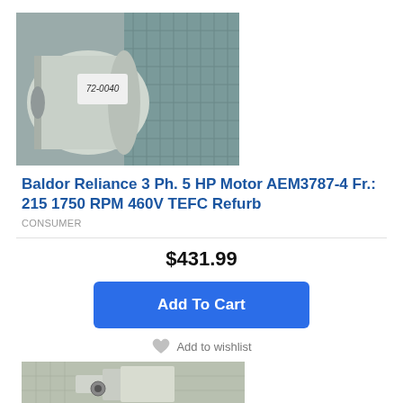[Figure (photo): Product photo of a Baldor Reliance electric motor, gray/white casing, with handwritten label '72-0040' on a white tag, industrial grating in background.]
Baldor Reliance 3 Ph. 5 HP Motor AEM3787-4 Fr.: 215 1750 RPM 460V TEFC Refurb
CONSUMER
$431.99
Add To Cart
Add to wishlist
[Figure (photo): Partial product photo showing industrial parts/components on a tiled surface, cropped at bottom of page.]